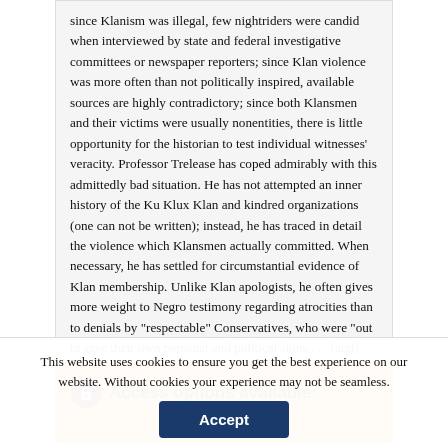since Klanism was illegal, few nightriders were candid when interviewed by state and federal investigative committees or newspaper reporters; since Klan violence was more often than not politically inspired, available sources are highly contradictory; since both Klansmen and their victims were usually nonentities, there is little opportunity for the historian to test individual witnesses' veracity. Professor Trelease has coped admirably with this admittedly bad situation. He has not attempted an inner history of the Ku Klux Klan and kindred organizations (one can not be written); instead, he has traced in detail the violence which Klansmen actually committed. When necessary, he has settled for circumstantial evidence of Klan membership. Unlike Klan apologists, he often gives more weight to Negro testimony regarding atrocities than to denials by "respectable" Conservatives, who were "out to save their own personal and political skins . . . [and] out to defend a white supremacy which was menaced by majority rule...
.
Access options available:
This website uses cookies to ensure you get the best experience on our website. Without cookies your experience may not be seamless.
Accept